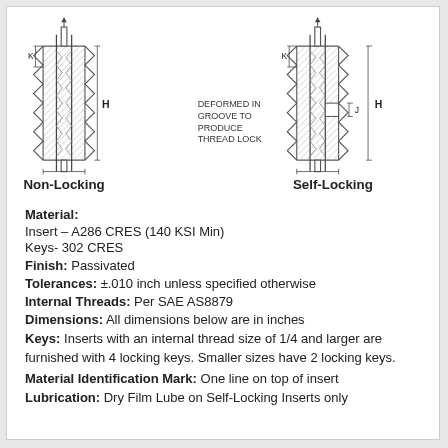[Figure (engineering-diagram): Two cross-sectional technical diagrams side by side: Non-Locking insert (left) and Self-Locking insert (right). Both show threaded inserts with keys, dimension labels K, H on left; K, J, H on right. The Self-Locking insert shows a groove deformed to produce thread lock, with annotation 'DEFORMED IN GROOVE TO PRODUCE THREAD LOCK'.]
Material:
Insert – A286 CRES (140 KSI Min)
Keys- 302 CRES
Finish: Passivated
Tolerances: ±.010 inch unless specified otherwise
Internal Threads: Per SAE AS8879
Dimensions: All dimensions below are in inches
Keys: Inserts with an internal thread size of 1/4 and larger are furnished with 4 locking keys. Smaller sizes have 2 locking keys.
Material Identification Mark: One line on top of insert
Lubrication: Dry Film Lube on Self-Locking Inserts only